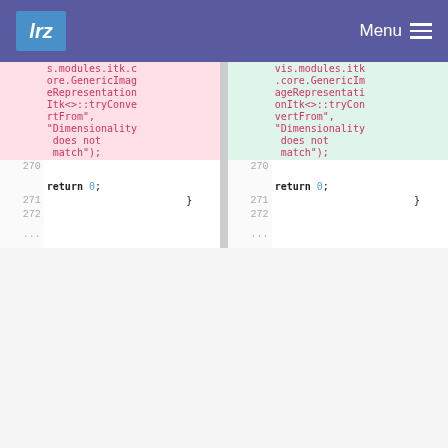lrz  Menu
| line-del | code-del | line-ins | code-ins |
| --- | --- | --- | --- |
|  | s.modules.itk.core.GenericImageRepresentationItk<>::tryConvertFrom", "Dimensionality does not match"); |  | vis.modules.itk.core.GenericImageRepresentationItk<>::tryConvertFrom", "Dimensionality does not match"); |
| 270 |  | 270 |  |
|  | return 0; |  | return 0; |
| 271 | } | 271 | } |
| 272 |  | 272 |  |
| ... |  | ... |  |
Please register or sign in to comment